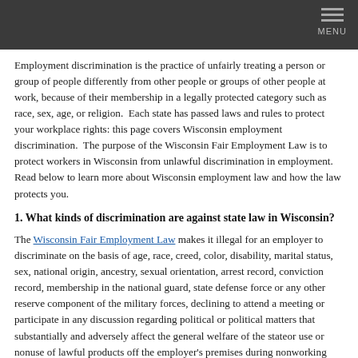MENU
Employment discrimination is the practice of unfairly treating a person or group of people differently from other people or groups of other people at work, because of their membership in a legally protected category such as race, sex, age, or religion.  Each state has passed laws and rules to protect your workplace rights: this page covers Wisconsin employment discrimination.  The purpose of the Wisconsin Fair Employment Law is to protect workers in Wisconsin from unlawful discrimination in employment. Read below to learn more about Wisconsin employment law and how the law protects you.
1. What kinds of discrimination are against state law in Wisconsin?
The Wisconsin Fair Employment Law makes it illegal for an employer to discriminate on the basis of age, race, creed, color, disability, marital status, sex, national origin, ancestry, sexual orientation, arrest record, conviction record, membership in the national guard, state defense force or any other reserve component of the military forces, declining to attend a meeting or participate in any discussion regarding political or political matters that substantially and adversely affect the general welfare of the stateor use or nonuse of lawful products off the employer's premises during nonworking hours.